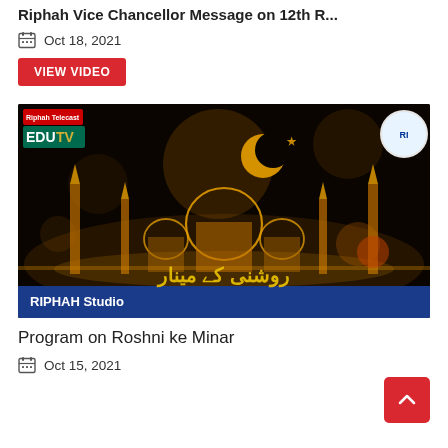Riphah Vice Chancellor Message on 12th R...
Oct 18, 2021
VIEW VIDEO
[Figure (screenshot): Screenshot of EDU TV Riphah Studio video thumbnail showing a glowing golden mosque silhouette with crescent moon on dark background and Urdu text 'Roshni ke Minar'. EDU TV logo in top-left, university logo in top-right, RIPHAH Studio text in bottom-left on blue bar.]
Program on Roshni ke Minar
Oct 15, 2021